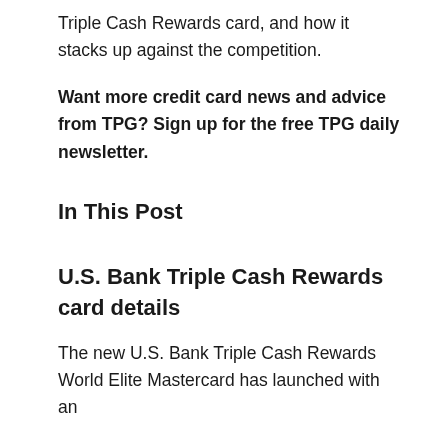Triple Cash Rewards card, and how it stacks up against the competition.
Want more credit card news and advice from TPG? Sign up for the free TPG daily newsletter.
In This Post
U.S. Bank Triple Cash Rewards card details
The new U.S. Bank Triple Cash Rewards World Elite Mastercard has launched with an